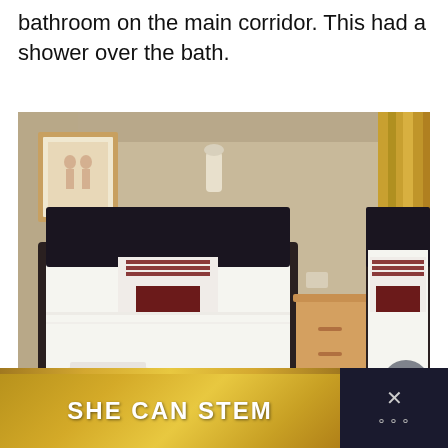bathroom on the main corridor. This had a shower over the bath.
[Figure (photo): Hotel twin bedroom with two single beds with dark headboards, white bedding, striped and dark red pillows, folded white towels at the foot of each bed, a wooden bedside table between them, a framed picture on the wall, a wall light, and gold curtains on the right. UI buttons visible on the right edge.]
[Figure (screenshot): Advertisement banner at the bottom of the page reading 'SHE CAN STEM' in bold white text on a gold/dark background, with a close (X) button and branding logo on the right.]